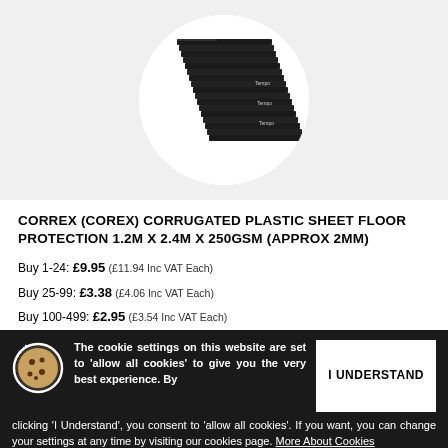[Figure (photo): Stack of dark corrugated plastic sheets displayed in a white circular crop, viewed from an angle showing the edge profile. Sheets branded with 'Tempo' labels.]
CORREX (COREX) CORRUGATED PLASTIC SHEET FLOOR PROTECTION 1.2M X 2.4M X 250GSM (APPROX 2MM)
Buy 1-24: £9.95 (£11.94 Inc VAT Each)
Buy 25-99: £3.38 (£4.06 Inc VAT Each)
Buy 100-499: £2.95 (£3.54 Inc VAT Each)
Buy 500+: £2.75 (£3.30 Inc VAT Each)
The cookie settings on this website are set to 'allow all cookies' to give you the very best experience. By clicking 'I Understand', you consent to 'allow all cookies'. If you want, you can change your settings at any time by visiting our cookies page. More About Cookies